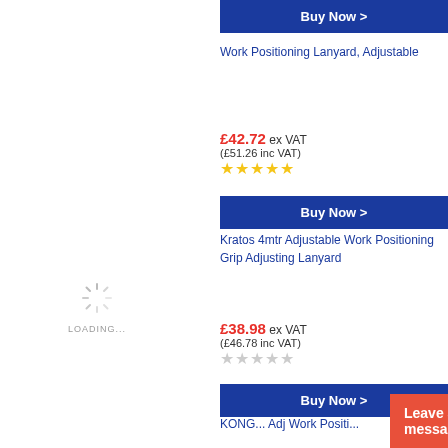Buy Now >
Work Positioning Lanyard, Adjustable
£42.72 ex VAT (£51.26 inc VAT)
★★★★★
Buy Now >
Kratos 4mtr Adjustable Work Positioning Grip Adjusting Lanyard
[Figure (illustration): Loading spinner with LOADING... text]
£38.98 ex VAT (£46.78 inc VAT)
☆☆☆☆☆
Buy Now >
KONG... Adj Work Positi...
Leave a message